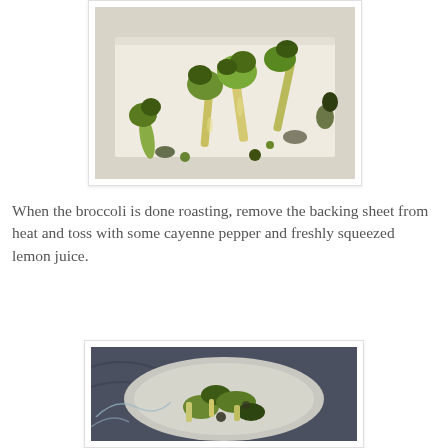[Figure (photo): Roasted broccoli florets on a baking sheet lined with parchment paper, showing charred edges and caramelized stems]
When the broccoli is done roasting, remove the backing sheet from heat and toss with some cayenne pepper and freshly squeezed lemon juice.
[Figure (photo): A plate of roasted broccoli tossed with seasoning, served on a decorative plate with a dark patterned background]